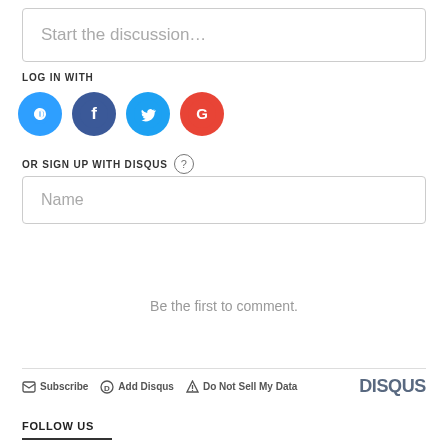Start the discussion…
LOG IN WITH
[Figure (illustration): Social login icons: Disqus (blue circle with D), Facebook (dark blue circle with f), Twitter (light blue circle with bird), Google (red circle with G)]
OR SIGN UP WITH DISQUS ?
Name
Be the first to comment.
Subscribe  Add Disqus  Do Not Sell My Data  DISQUS
FOLLOW US